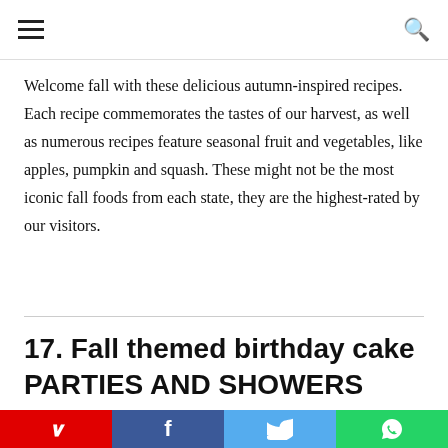≡  [hamburger menu]  |  [search icon]
Welcome fall with these delicious autumn-inspired recipes. Each recipe commemorates the tastes of our harvest, as well as numerous recipes feature seasonal fruit and vegetables, like apples, pumpkin and squash. These might not be the most iconic fall foods from each state, they are the highest-rated by our visitors.
17. Fall themed birthday cake PARTIES AND SHOWERS
[Figure (photo): Partial photo strip visible at bottom of content area, dark autumn tones]
Social sharing bar: Pinterest, Facebook, Twitter, WhatsApp